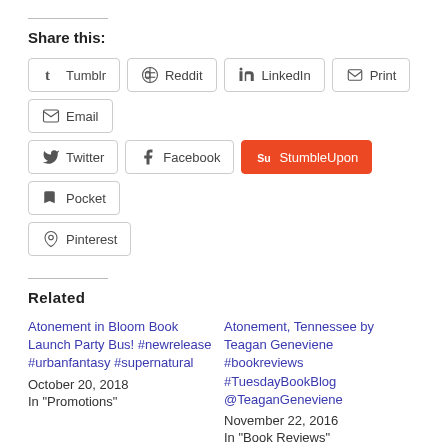Share this:
Tumblr
Reddit
LinkedIn
Print
Email
Twitter
Facebook
StumbleUpon
Pocket
Pinterest
Related
Atonement in Bloom Book Launch Party Bus! #newrelease #urbanfantasy #supernatural
October 20, 2018
In "Promotions"
Atonement, Tennessee by Teagan Geneviene #bookreviews #TuesdayBookBlog @TeaganGeneviene
November 22, 2016
In "Book Reviews"